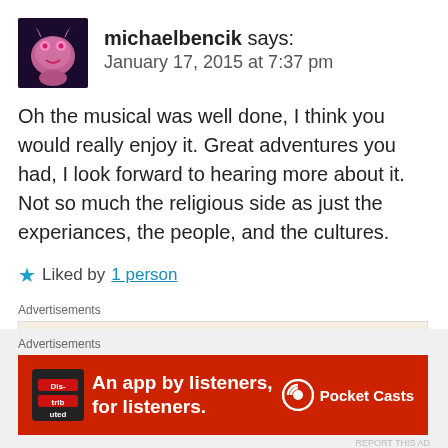[Figure (illustration): Avatar image for user michaelbencik, colorful creature illustration on dark background]
michaelbencik says:
January 17, 2015 at 7:37 pm
Oh the musical was well done, I think you would really enjoy it. Great adventures you had, I look forward to hearing more about it. Not so much the religious side as just the experiances, the people, and the cultures.
★ Liked by 1 person
Advertisements
[Figure (screenshot): WordPress advertisement: Professionally designed sites in less than a week, with WordPress logo]
REPORT THIS AD
Advertisements
[Figure (screenshot): Pocket Casts advertisement: An app by listeners, for listeners. Red background with phone image and Pocket Casts logo]